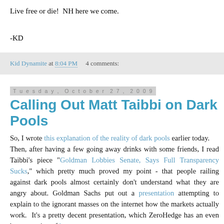Live free or die!  NH here we come.
-KD
Kid Dynamite at 8:04 PM     4 comments:
Tuesday, October 27, 2009
Calling Out Matt Taibbi on Dark Pools
So, I wrote this explanation of the reality of dark pools earlier today.      Then, after having a few going away drinks with some friends, I read Taibbi's piece "Goldman Lobbies Senate, Says Full Transparency Sucks," which pretty much proved my point - that people railing against dark pools almost certainly don't understand what they are angry about. Goldman Sachs put out a presentation attempting to explain to the ignorant masses on the internet how the markets actually work.  It's a pretty decent presentation, which ZeroHedge has an even better version of here.